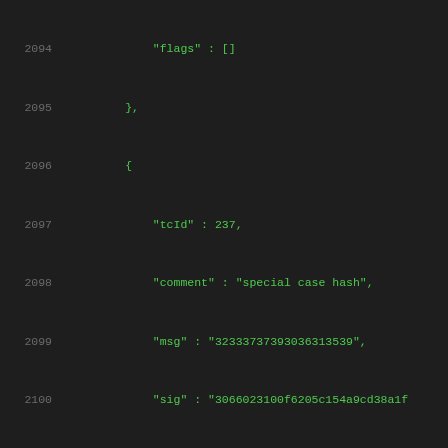Code listing lines 2094-2114 showing JSON test vector data with tcId, comment, msg, sig, result, and flags fields
2094    "flags" : []
2095    },
2096    {
2097        "tcId" : 237,
2098        "comment" : "special case hash",
2099        "msg" : "32333737393036313539",
2100        "sig" : "3066023100f6205c154a9cd38a1f
2101        "result" : "valid",
2102        "flags" : []
2103    },
2104    {
2105        "tcId" : 238,
2106        "comment" : "special case hash",
2107        "msg" : "38303833333234363363234",
2108        "sig" : "3066023100aedf7382965359c9ab
2109        "result" : "valid",
2110        "flags" : []
2111    },
2112    {
2113        "tcId" : 239,
2114        "comment" : "special case hash",